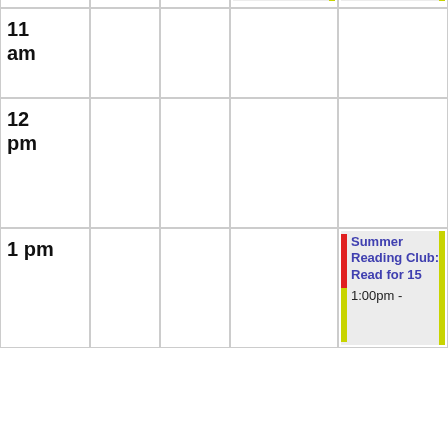| Time | Col1 | Col2 | Col3 | Col4 |
| --- | --- | --- | --- | --- |
|  |  |  | Summer Reading Club: Inventors & Innovators (Ages 2-5 Years) 10:30am - 12:00pm | Summer Reading Club: Inventors & Innovators (Ages 6-10 Years) 10:00am - 12:00pm |
| 11 am |  |  |  |  |
| 12 pm |  |  |  |  |
| 1 pm |  |  |  | Summer Reading Club: Read for 15 1:00pm - |